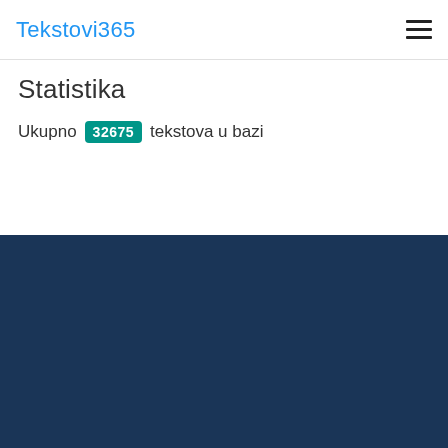Tekstovi365
Statistika
Ukupno 32675 tekstova u bazi